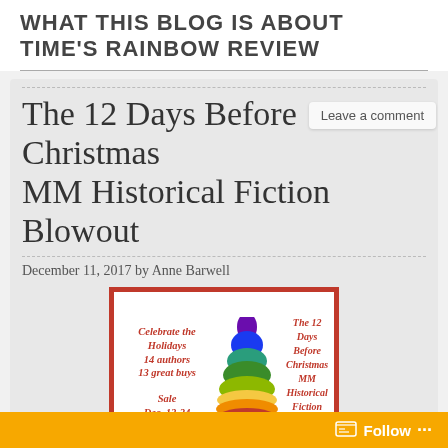WHAT THIS BLOG IS ABOUT
TIME'S RAINBOW REVIEW
The 12 Days Before Christmas MM Historical Fiction Blowout
December 11, 2017 by Anne Barwell
[Figure (illustration): Promotional image for 'The 12 Days Before Christmas MM Historical Fiction Blowout' sale Dec. 12-24. Features a rainbow-colored Christmas tree. Left text: 'Celebrate the Holidays 14 authors 13 great buys'. Right text: 'The 12 Days Before Christmas MM Historical Fiction Blowout'. Bottom left: 'Sale Dec. 12-24'. Red border.]
Follow